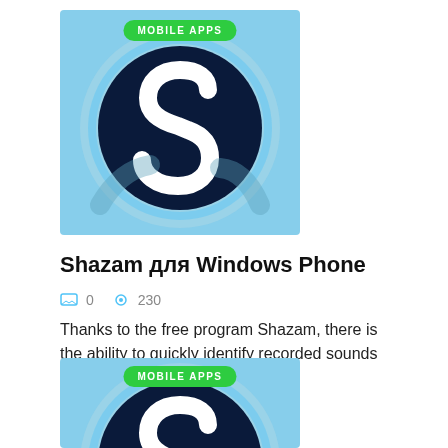[Figure (screenshot): Shazam app icon with light blue background and dark circular Shazam logo, with green 'MOBILE APPS' badge overlay at top]
Shazam для Windows Phone
□ 0  © 230
Thanks to the free program Shazam, there is the ability to quickly identify recorded sounds that can
[Figure (screenshot): Second Shazam app icon with light blue background and dark circular Shazam logo, with green 'MOBILE APPS' badge overlay at top (partially visible)]